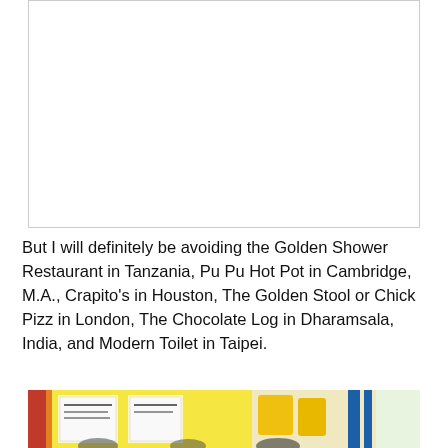[Figure (photo): Top portion of a photo, mostly white/blank space with a thin border, image content cropped out of view]
But I will definitely be avoiding the Golden Shower Restaurant in Tanzania, Pu Pu Hot Pot in Cambridge, M.A., Crapito's in Houston, The Golden Stool or Chick Pizz in London, The Chocolate Log in Dharamsala, India, and Modern Toilet in Taipei.
[Figure (photo): Bottom portion of a photo showing a restaurant interior with yellow decor, menus/signs, and people seated, partially cropped]